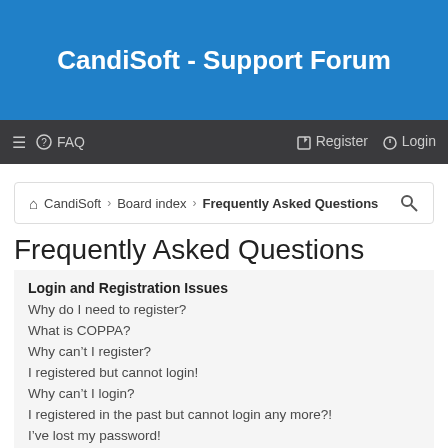CandiSoft - Support Forum
≡  ❓ FAQ    ✎ Register  ⏻ Login
🏠 CandiSoft › Board index › Frequently Asked Questions
Frequently Asked Questions
Login and Registration Issues
Why do I need to register?
What is COPPA?
Why can't I register?
I registered but cannot login!
Why can't I login?
I registered in the past but cannot login any more?!
I've lost my password!
Why do I get logged off automatically?
What does the "Delete cookies" do?
User Preferences and settings